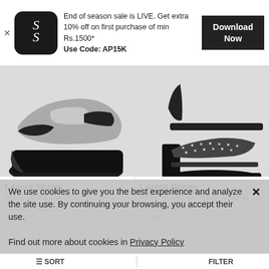[Figure (screenshot): App banner advertisement for a shoe shopping app. Shows app logo (double S on dark background), promotional text about end of season sale, and a Download Now button.]
End of season sale is LIVE. Get extra 10% off on first purchase of min Rs.1500*
Use Code: AP15K
Download Now
[Figure (photo): Grey fabric round toe wedge slipon women's sandal with black platform sole]
[Figure (photo): Black fabric round toe slipon women's sandal with block heel and rhinestone embellishments]
Lazera Shoes
Fabric Round Toe Slipon Womens Sandals - Grey
Rs.599
Lazera Shoes
Fabric Round Toe Slipon Womens Sandals - Black
Rs.599
We use cookies to give you the best experience and analyze the site use. By continuing your browsing, you accept their use.
Find out more about cookies in Privacy Policy
SORT  FILTER